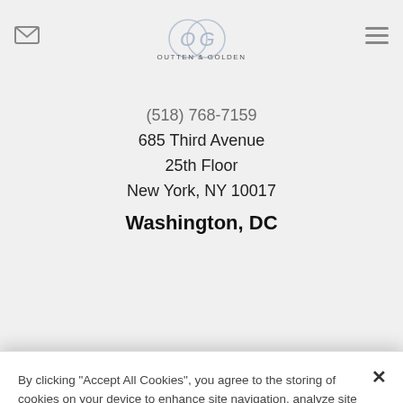[Figure (logo): Outten & Golden law firm logo with overlapping O and G letters]
(518) 768-7159
685 Third Avenue
25th Floor
New York, NY 10017
Washington, DC
By clicking "Accept All Cookies", you agree to the storing of cookies on your device to enhance site navigation, analyze site usage, and assist in our marketing efforts.
Cookies Settings
Reject All
Accept All Cookies